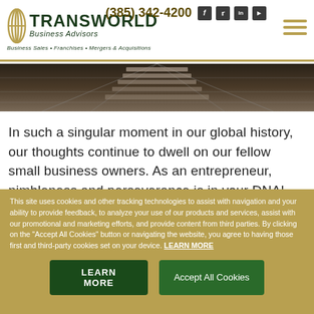(385) 342-4200  f  t  in  yt  | TRANSWORLD Business Advisors | Business Sales • Franchises • Mergers & Acquisitions
[Figure (photo): Overhead view of a rope bridge or industrial grid structure from above, dark tones]
In such a singular moment in our global history, our thoughts continue to dwell on our fellow small business owners. As an entrepreneur, nimbleness and perseverance is in your DNA! We will be able to rise above this challenge, and we can anticipate a future
This site uses cookies and other tracking technologies to assist with navigation and your ability to provide feedback, to analyze your use of our products and services, assist with our promotional and marketing efforts, and provide content from third parties. By clicking on the "Accept All Cookies" button or navigating the website, you agree to having those first and third-party cookies set on your device. LEARN MORE
LEARN MORE | Accept All Cookies